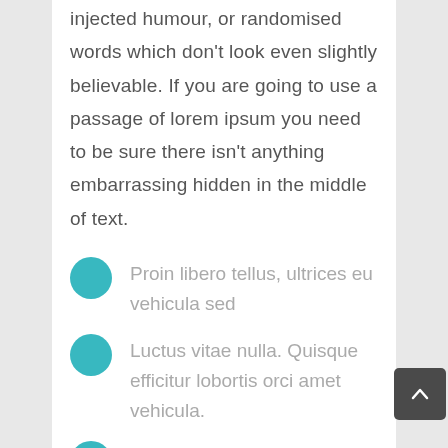injected humour, or randomised words which don't look even slightly believable. If you are going to use a passage of lorem ipsum you need to be sure there isn't anything embarrassing hidden in the middle of text.
Proin libero tellus, ultrices eu vehicula sed
Luctus vitae nulla. Quisque efficitur lobortis orci amet vehicula.
Sed tincidunt tincidunt vel scelerisque nibh tincidunt ut.